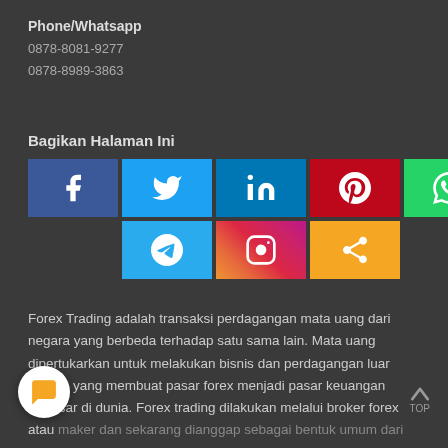Phone/Whatsapp
0878-8081-9277
0878-8989-3863
Bagikan Halaman Ini
[Figure (infographic): Social media sharing buttons: Facebook, Twitter, LinkedIn, Pinterest, WhatsApp (top row); Telegram, Instagram, Share (bottom row)]
Forex Trading adalah transaksi perdagangan mata uang dari negara yang berbeda terhadap satu sama lain. Mata uang dipertukarkan untuk melakukan bisnis dan perdagangan luar negeri, yang membuat pasar forex menjadi pasar keuangan terbesar di dunia. Forex trading dilakukan melalui broker forex atau maker dan sekarang dianggap sebagai bentuk umum dari investasi. ex adalah pasar global 24 jam, yang memungkinkan para broker melakukan perdagangan mulai saat pasar dibuka di Australia pada hari Minggu dan berakhir di New York pada hari Jumat. Pedagang hari ini juga